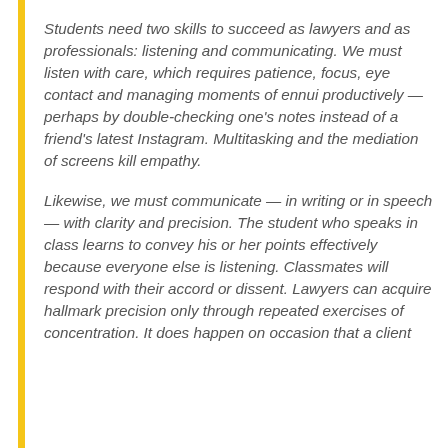Students need two skills to succeed as lawyers and as professionals: listening and communicating. We must listen with care, which requires patience, focus, eye contact and managing moments of ennui productively — perhaps by double-checking one's notes instead of a friend's latest Instagram. Multitasking and the mediation of screens kill empathy.
Likewise, we must communicate — in writing or in speech — with clarity and precision. The student who speaks in class learns to convey his or her points effectively because everyone else is listening. Classmates will respond with their accord or dissent. Lawyers can acquire hallmark precision only through repeated exercises of concentration. It does happen on occasion that a client